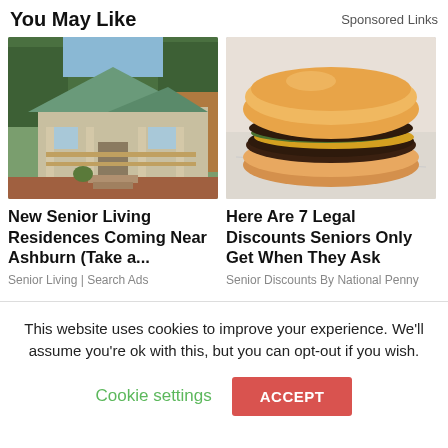You May Like
Sponsored Links
[Figure (photo): Photo of a small house with a wooden front porch and railing, green metal roof, surrounded by trees and brick paving]
New Senior Living Residences Coming Near Ashburn (Take a...
Senior Living | Search Ads
[Figure (photo): Close-up photo of a hamburger with meat patty, cheese, and toppings on a bun, sitting on white paper wrapper]
Here Are 7 Legal Discounts Seniors Only Get When They Ask
Senior Discounts By National Penny
This website uses cookies to improve your experience. We'll assume you're ok with this, but you can opt-out if you wish.
Cookie settings
ACCEPT